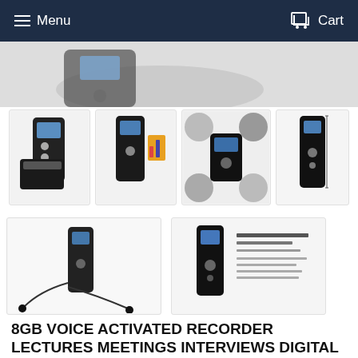Menu   Cart
[Figure (photo): Partial top view of digital voice recorder, cropped hero image]
[Figure (photo): Thumbnail 1: Digital voice recorder with multiple accessories shown from front and side angles]
[Figure (photo): Thumbnail 2: Digital voice recorder with memory card and accessories]
[Figure (photo): Thumbnail 3: Collage showing digital voice recorder in various usage scenarios - meetings, lectures, interviews]
[Figure (photo): Thumbnail 4: Single digital voice recorder device with dimensions]
[Figure (photo): Thumbnail 5: Digital voice recorder with earphones/headphones]
[Figure (photo): Thumbnail 6: Digital voice recorder with product specification text overlay]
8GB VOICE ACTIVATED RECORDER LECTURES MEETINGS INTERVIEWS DIGITAL VOICE RECORDER AUDIO RECORDER MINI PORTABLE TAPE DICTAPHONE
$29.96